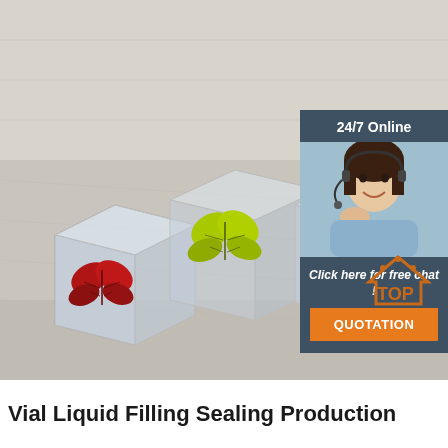[Figure (photo): Three translucent square vials/pouches with colorful butterfly decorations (red, yellow-green, and purple) standing on a light wood surface, with a 24/7 chat widget overlay on the right side and a TOP logo in the lower right.]
Vial Liquid Filling Sealing Production